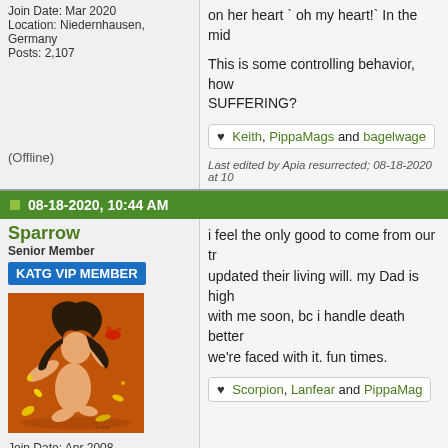Join Date: Mar 2020
Location: Niedernhausen, Germany
Posts: 2,107
on her heart ` oh my heart!` In the mid...
This is some controlling behavior, how... SUFFERING?
♥ Keith, PippaMags and bagelwage...
Last edited by Apia resurrected; 08-18-2020 at 10...
(Offline)
08-18-2020, 10:44 AM
Sparrow
Senior Member
KATG VIP MEMBER
[Figure (illustration): Forum avatar: cartoon illustration of a woman with dark hair on orange background]
Join Date: Apr 2008
Location: Georgia
Posts: 5,373
i feel the only good to come from our tr... updated their living will. my Dad is high... with me soon, bc i handle death better... we're faced with it. fun times.
♥ Scorpion, Lanfear and PippaMag...